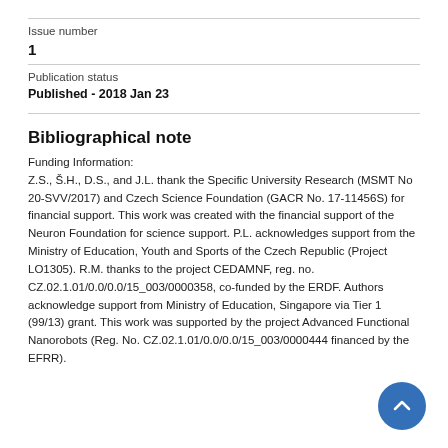Issue number
1
Publication status
Published - 2018 Jan 23
Bibliographical note
Funding Information:
Z.S., Š.H., D.S., and J.L. thank the Specific University Research (MSMT No 20-SVV/2017) and Czech Science Foundation (GACR No. 17-11456S) for financial support. This work was created with the financial support of the Neuron Foundation for science support. P.L. acknowledges support from the Ministry of Education, Youth and Sports of the Czech Republic (Project LO1305). R.M. thanks to the project CEDAMNF, reg. no. CZ.02.1.01/0.0/0.0/15_003/0000358, co-funded by the ERDF. Authors acknowledge support from Ministry of Education, Singapore via Tier 1 (99/13) grant. This work was supported by the project Advanced Functional Nanorobots (Reg. No. CZ.02.1.01/0.0/0.0/15_003/0000444 financed by the EFRR).